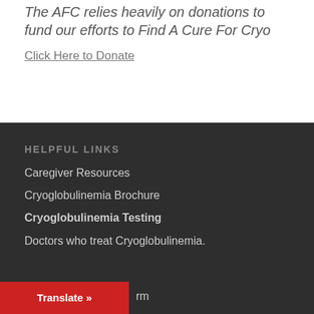The AFC relies heavily on donations to fund our efforts to Find A Cure For Cryo
Click Here to Donate
HELPFUL LINKS
Caregiver Resources
Cryoglobulinemia Brochure
Cryoglobulinemia Testing
Doctors who treat Cryoglobulinemia.
rm
Translate »